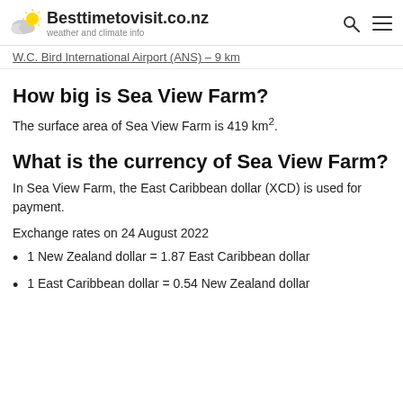Besttimetovisit.co.nz — weather and climate info
W.C. Bird International Airport (ANS) — 9 km
How big is Sea View Farm?
The surface area of Sea View Farm is 419 km².
What is the currency of Sea View Farm?
In Sea View Farm, the East Caribbean dollar (XCD) is used for payment.
Exchange rates on 24 August 2022
1 New Zealand dollar = 1.87 East Caribbean dollar
1 East Caribbean dollar = 0.54 New Zealand dollar